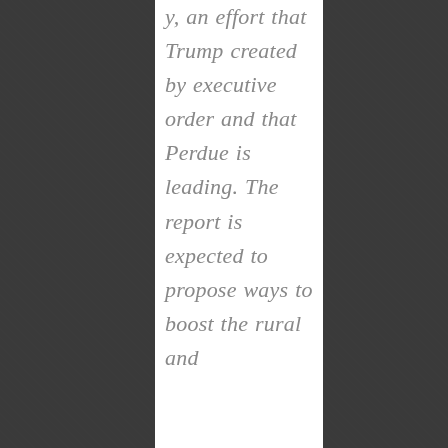y, an effort that Trump created by executive order and that Perdue is leading. The report is expected to propose ways to boost the rural and